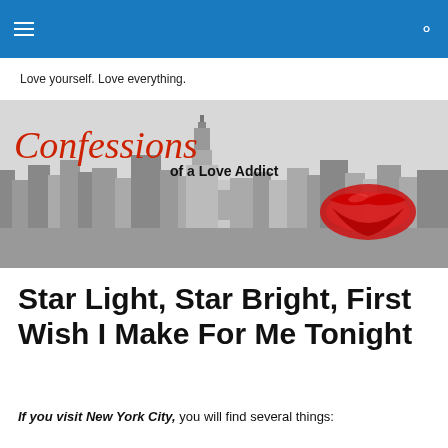Love yourself. Love everything.
[Figure (illustration): Banner image for 'Confessions of a Love Addict' blog — grayscale New York City skyline with Empire State Building, red cursive 'Confessions' title text, subtitle 'of a Love Addict', and large red lipstick kiss mark in lower right corner.]
Star Light, Star Bright, First Wish I Make For Me Tonight
If you visit New York City, you will find several things: buildings that reach the clouds, people from every country...